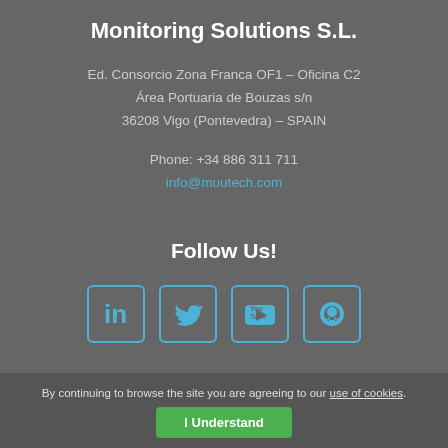Monitoring Solutions S.L.
Ed. Consorcio Zona Franca OF1 - Oficina C2
Área Portuaria de Bouzas s/n
36208 Vigo (Pontevedra) - SPAIN
Phone: +34 886 311 711
info@muutech.com
Follow Us!
[Figure (infographic): Four social media icons in boxes: LinkedIn, Twitter, YouTube, GitHub]
By continuing to browse the site you are agreeing to our use of cookies.
I Understand